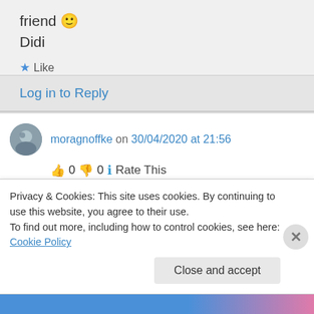friend 🙂
Didi
★ Like
Log in to Reply
moragnoffke on 30/04/2020 at 21:56
👍 0 👎 0 ℹ Rate This
I am enjoying your blog. I just wanted to let you know that I nominated you for the Vincent
Privacy & Cookies: This site uses cookies. By continuing to use this website, you agree to their use.
To find out more, including how to control cookies, see here: Cookie Policy
Close and accept